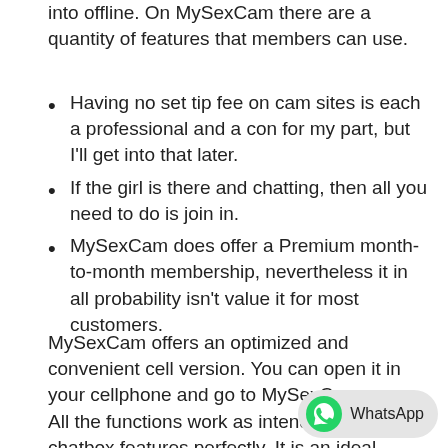into offline. On MySexCam there are a quantity of features that members can use.
Having no set tip fee on cam sites is each a professional and a con for my part, but I'll get into that later.
If the girl is there and chatting, then all you need to do is join in.
MySexCam does offer a Premium month-to-month membership, nevertheless it in all probability isn't value it for most customers.
MySexCam offers an optimized and convenient cell version. You can open it in your cellphone and go to MySexCam.com. All the functions work as intended, and the chatbox features perfectly. It is an ideal variant to carry the collection of the most nicely liked girls in your pocket. The payment methods are diversified, although they are quite focused on models from the United States. If you're from one of geographical space you won't have a lot to choose from.